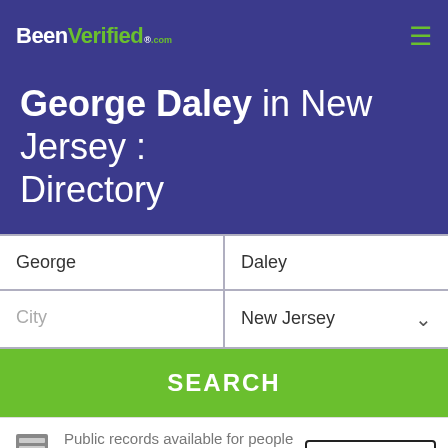BeenVerified.com
George Daley in New Jersey : Directory
George (first name input field)
Daley (last name input field)
City (city input field)
New Jersey (state dropdown)
SEARCH
Public records available for people named George Daley
BACK TO TOP ↑